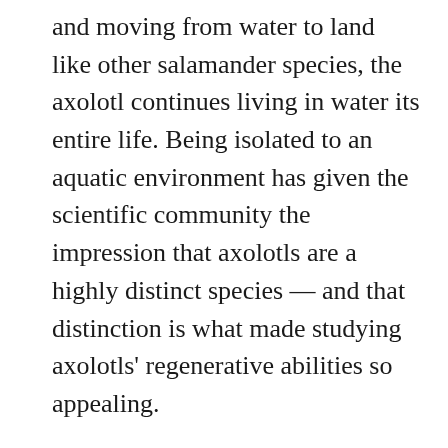and moving from water to land like other salamander species, the axolotl continues living in water its entire life. Being isolated to an aquatic environment has given the scientific community the impression that axolotls are a highly distinct species — and that distinction is what made studying axolotls' regenerative abilities so appealing.
However, a UK-led team, in collaboration with researchers from Mexico, have discovered that the axolotl is actually not much different from other species of tiger salamanders. Through reconstructing an evolutionary history, they found that